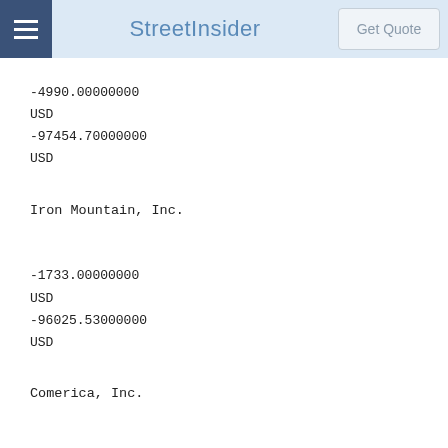StreetInsider | Get Quote
-4990.00000000
USD
-97454.70000000
USD
Iron Mountain, Inc.
-1733.00000000
USD
-96025.53000000
USD
Comerica, Inc.
-988.00000000
USD
-89344.84000000